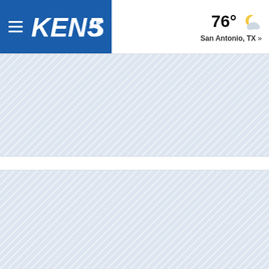KENS5 — 76° San Antonio, TX »
[Figure (screenshot): KENS5 news website header with blue navigation bar on the left containing hamburger menu and KENS5 logo, and weather widget on the right showing 76° with a partly cloudy night icon and San Antonio, TX location link]
[Figure (screenshot): Diagonal stripe placeholder/loading area — light blue hatched pattern block 1]
[Figure (screenshot): Diagonal stripe placeholder/loading area — light blue hatched pattern block 2]